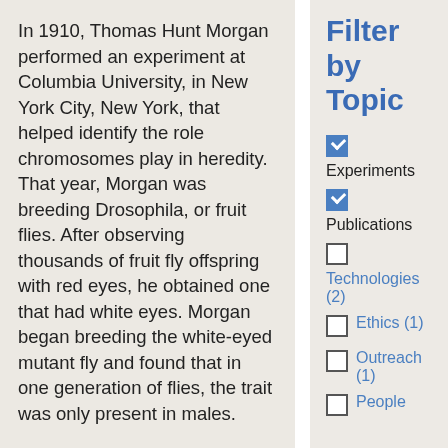In 1910, Thomas Hunt Morgan performed an experiment at Columbia University, in New York City, New York, that helped identify the role chromosomes play in heredity. That year, Morgan was breeding Drosophila, or fruit flies. After observing thousands of fruit fly offspring with red eyes, he obtained one that had white eyes. Morgan began breeding the white-eyed mutant fly and found that in one generation of flies, the trait was only present in males.
Format: Articles
Filter by Topic
[checked] Experiments
[checked] Publications
Technologies (2)
Ethics (1)
Outreach (1)
People